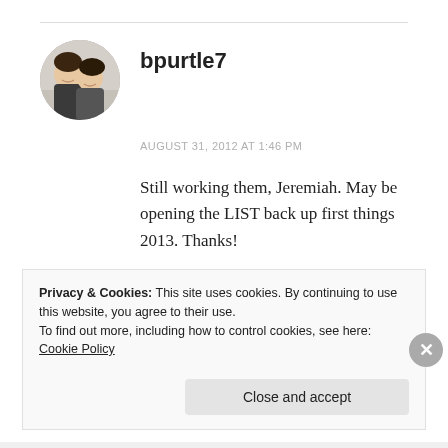[Figure (photo): Circular avatar photo of a man and woman smiling together, cropped in a circle]
bpurtle7
AUGUST 31, 2012 AT 1:46 PM
Still working them, Jeremiah. May be opening the LIST back up first things 2013. Thanks!
REPLY
Privacy & Cookies: This site uses cookies. By continuing to use this website, you agree to their use.
To find out more, including how to control cookies, see here: Cookie Policy
Close and accept